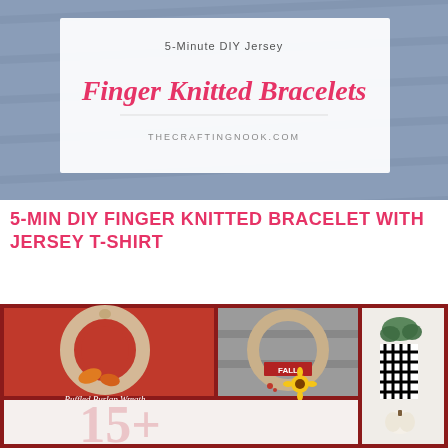[Figure (photo): Top image showing a crafting tutorial card with cursive text 'Finger Knitted Bracelets' and 'THECRAFTINGNOOK.COM' on a white background over a denim fabric background, with partial text '5-Minute DIY Jersey' at top]
5-MIN DIY FINGER KNITTED BRACELET WITH JERSEY T-SHIRT
[Figure (photo): Collage of wreath images: a ruffled burlap wreath on a red background with text 'Ruffled Burlap Wreath Tutorial', a burlap-wrapped wreath with FALL banner and sunflower, a black and white buffalo plaid ribbon wreath with greenery, and a partial bottom section showing '15+' text in large pink letters]